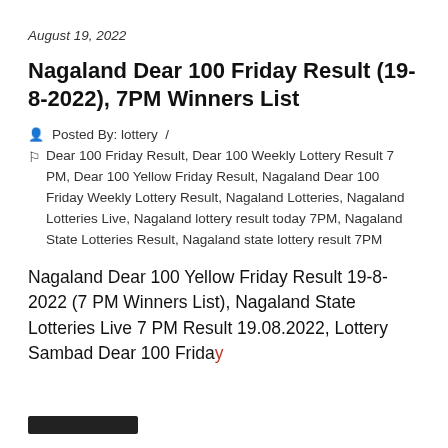August 19, 2022
Nagaland Dear 100 Friday Result (19-8-2022), 7PM Winners List
Posted By: lottery /
Dear 100 Friday Result, Dear 100 Weekly Lottery Result 7 PM, Dear 100 Yellow Friday Result, Nagaland Dear 100 Friday Weekly Lottery Result, Nagaland Lotteries, Nagaland Lotteries Live, Nagaland lottery result today 7PM, Nagaland State Lotteries Result, Nagaland state lottery result 7PM
Nagaland Dear 100 Yellow Friday Result 19-8-2022 (7 PM Winners List), Nagaland State Lotteries Live 7 PM Result 19.08.2022, Lottery Sambad Dear 100 Friday